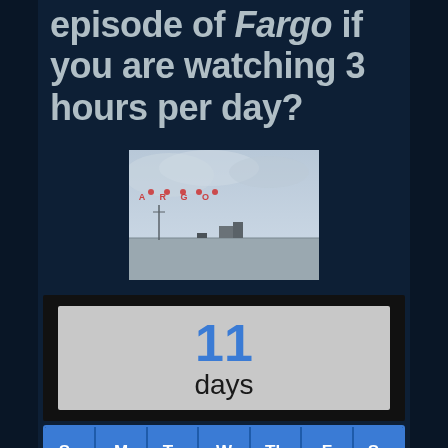episode of Fargo if you are watching 3 hours per day?
[Figure (photo): Promotional image for the TV show Fargo showing a flat snowy landscape with letters F A R G O spelled out in red above, and a vehicle/trailer visible in the distance under a grey sky.]
11 days
Su M Tu W Th F Sa